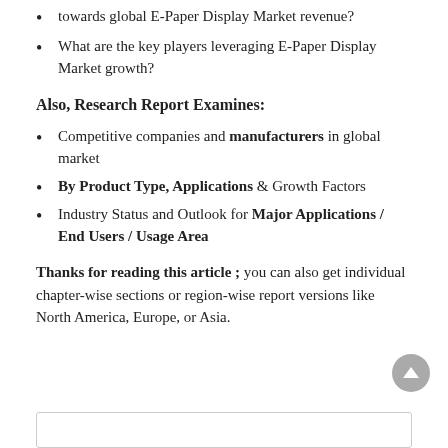towards global E-Paper Display Market revenue?
What are the key players leveraging E-Paper Display Market growth?
Also, Research Report Examines:
Competitive companies and manufacturers in global market
By Product Type, Applications & Growth Factors
Industry Status and Outlook for Major Applications / End Users / Usage Area
Thanks for reading this article ; you can also get individual chapter-wise sections or region-wise report versions like North America, Europe, or Asia.